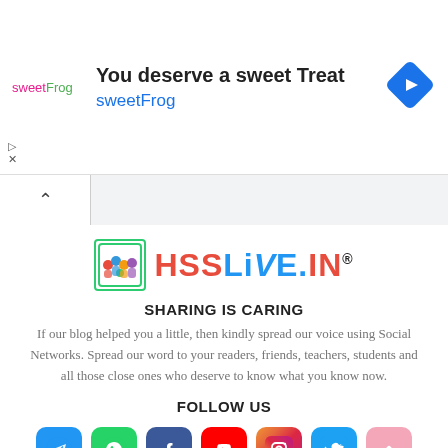[Figure (infographic): Advertisement banner for sweetFrog with logo, headline 'You deserve a sweet Treat', subtext 'sweetFrog', and a blue navigation arrow icon]
[Figure (logo): HSSLiVE.IN logo with illustrated children graphic and styled text]
SHARING IS CARING
If our blog helped you a little, then kindly spread our voice using Social Networks. Spread our word to your readers, friends, teachers, students and all those close ones who deserve to know what you know now.
FOLLOW US
[Figure (infographic): Row of social media icons: Telegram, WhatsApp, Facebook, YouTube, Instagram, Twitter, and a back-to-top button]